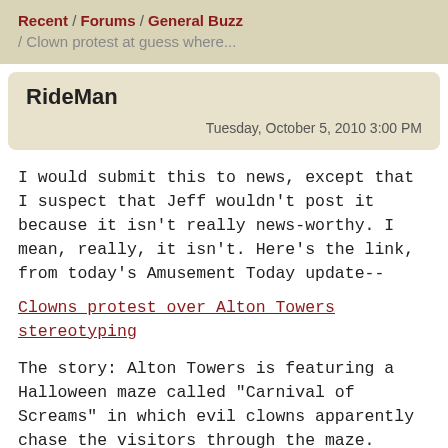Recent / Forums / General Buzz / Clown protest at guess where...
RideMan
Tuesday, October 5, 2010 3:00 PM
I would submit this to news, except that I suspect that Jeff wouldn't post it because it isn't really news-worthy. I mean, really, it isn't. Here's the link, from today's Amusement Today update--
Clowns protest over Alton Towers stereotyping
The story: Alton Towers is featuring a Halloween maze called "Carnival of Screams" in which evil clowns apparently chase the visitors through the maze. Apparently this